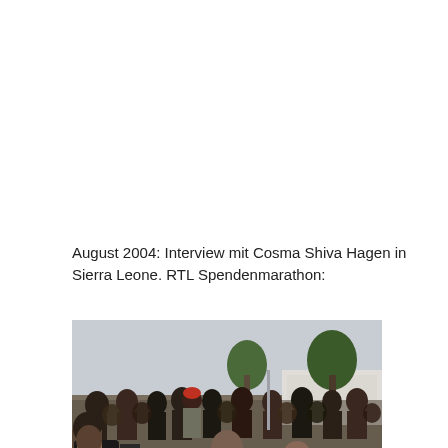August 2004: Interview mit Cosma Shiva Hagen in Sierra Leone. RTL Spendenmarathon:
[Figure (photo): Outdoor photo showing a TV interview scene in Sierra Leone: a cameraman films on the left, a male interviewer in a blue shirt kneels in the center holding a microphone toward a woman in a black top who is crouching. A large crowd of people stands in the background, with trees and a building visible.]